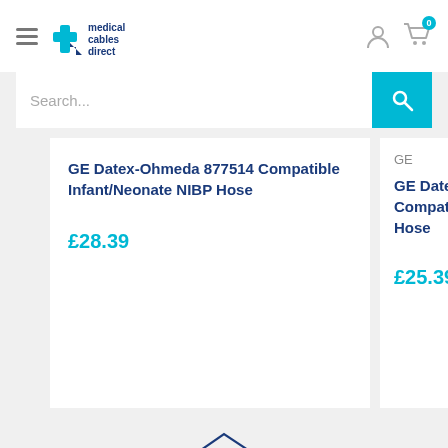[Figure (logo): Medical Cables Direct logo with blue cross and arrow icon, text 'medical cables direct']
[Figure (screenshot): Search bar with 'Search...' placeholder and teal search button]
GE Datex-Ohmeda 877514 Compatible Infant/Neonate NIBP Hose
£28.39
GE
GE Datex-Ohmeda 9 Compatible Infant/N Hose
£25.39
[Figure (illustration): Store/shop icon (house/storefront outline in teal/navy)]